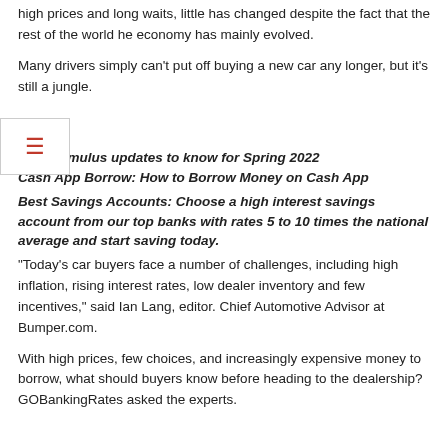high prices and long waits, little has changed despite the fact that the rest of the world he economy has mainly evolved.
Many drivers simply can't put off buying a new car any longer, but it's still a jungle.
See: Stimulus updates to know for Spring 2022
Cash App Borrow: How to Borrow Money on Cash App
Best Savings Accounts: Choose a high interest savings account from our top banks with rates 5 to 10 times the national average and start saving today.
“Today’s car buyers face a number of challenges, including high inflation, rising interest rates, low dealer inventory and few incentives,” said Ian Lang, editor. Chief Automotive Advisor at Bumper.com.
With high prices, few choices, and increasingly expensive money to borrow, what should buyers know before heading to the dealership? GOBankingRates asked the experts.